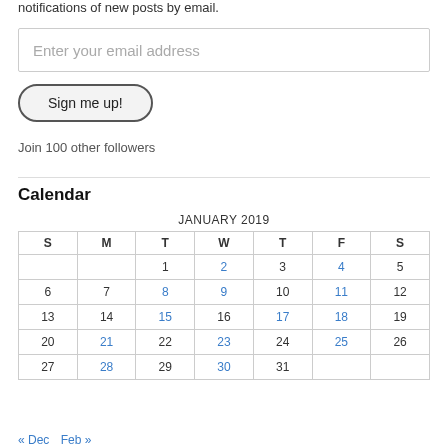notifications of new posts by email.
Enter your email address
Sign me up!
Join 100 other followers
Calendar
| S | M | T | W | T | F | S |
| --- | --- | --- | --- | --- | --- | --- |
|  |  | 1 | 2 | 3 | 4 | 5 |
| 6 | 7 | 8 | 9 | 10 | 11 | 12 |
| 13 | 14 | 15 | 16 | 17 | 18 | 19 |
| 20 | 21 | 22 | 23 | 24 | 25 | 26 |
| 27 | 28 | 29 | 30 | 31 |  |  |
« Dec   Feb »